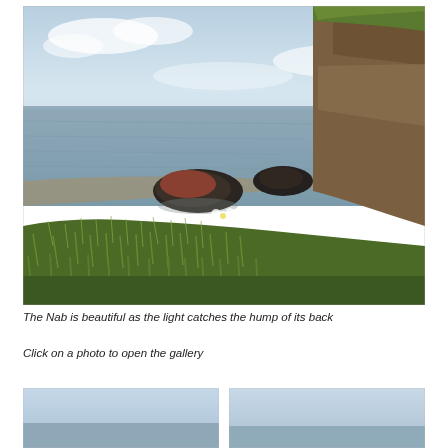[Figure (photo): Coastal cliff scene: green grassy foreground in lower portion, rocky outcrops on a tidal beach mid-ground with dark stone formations, a tall eroding cliff on the right showing brown layered geology, calm grey-green sea extending to horizon, overcast blue-white sky. Known as The Nab.]
The Nab is beautiful as the light catches the hump of its back
Click on a photo to open the gallery
[Figure (photo): Thumbnail coastal scene, pale sky and sea tones, left thumbnail.]
[Figure (photo): Thumbnail coastal scene, pale sky and sea tones, right thumbnail.]